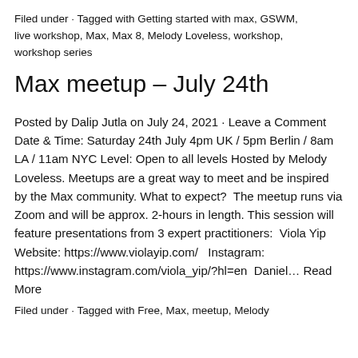Filed under · Tagged with Getting started with max, GSWM, live workshop, Max, Max 8, Melody Loveless, workshop, workshop series
Max meetup – July 24th
Posted by Dalip Jutla on July 24, 2021 · Leave a Comment Date & Time: Saturday 24th July 4pm UK / 5pm Berlin / 8am LA / 11am NYC Level: Open to all levels Hosted by Melody Loveless. Meetups are a great way to meet and be inspired by the Max community. What to expect?  The meetup runs via Zoom and will be approx. 2-hours in length. This session will feature presentations from 3 expert practitioners:  Viola Yip Website: https://www.violayip.com/   Instagram: https://www.instagram.com/viola_yip/?hl=en  Daniel… Read More
Filed under · Tagged with Free, Max, meetup, Melody